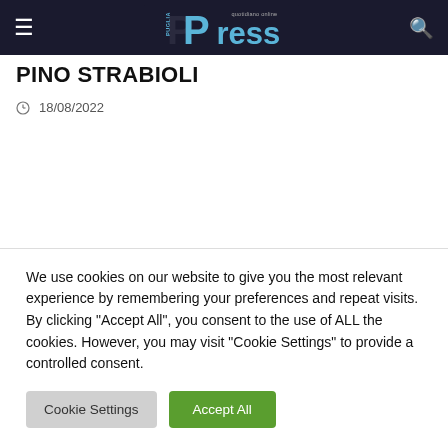PPress quotidiano online
PINO STRABIOLI
18/08/2022
We use cookies on our website to give you the most relevant experience by remembering your preferences and repeat visits. By clicking "Accept All", you consent to the use of ALL the cookies. However, you may visit "Cookie Settings" to provide a controlled consent.
Cookie Settings | Accept All